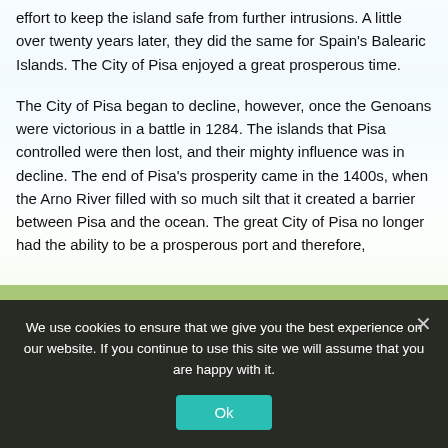effort to keep the island safe from further intrusions. A little over twenty years later, they did the same for Spain's Balearic Islands. The City of Pisa enjoyed a great prosperous time.
The City of Pisa began to decline, however, once the Genoans were victorious in a battle in 1284. The islands that Pisa controlled were then lost, and their mighty influence was in decline. The end of Pisa's prosperity came in the 1400s, when the Arno River filled with so much silt that it created a barrier between Pisa and the ocean. The great City of Pisa no longer had the ability to be a prosperous port and therefore,
We use cookies to ensure that we give you the best experience on our website. If you continue to use this site we will assume that you are happy with it.